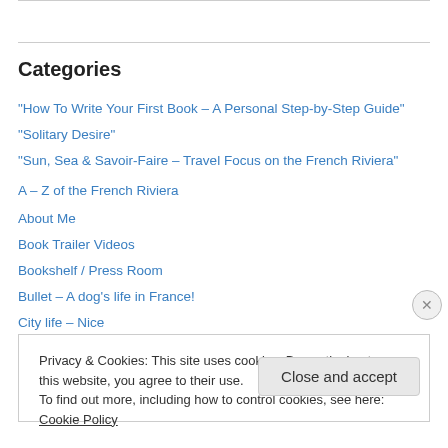Categories
"How To Write Your First Book – A Personal Step-by-Step Guide"
"Solitary Desire"
"Sun, Sea & Savoir-Faire – Travel Focus on the French Riviera"
A – Z of the French Riviera
About Me
Book Trailer Videos
Bookshelf / Press Room
Bullet – A dog's life in France!
City life – Nice
Privacy & Cookies: This site uses cookies. By continuing to use this website, you agree to their use.
To find out more, including how to control cookies, see here: Cookie Policy
Close and accept